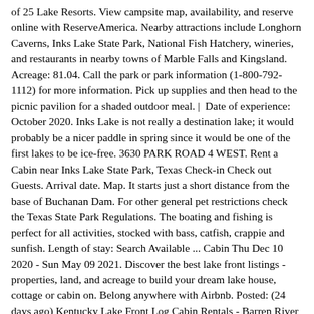of 25 Lake Resorts. View campsite map, availability, and reserve online with ReserveAmerica. Nearby attractions include Longhorn Caverns, Inks Lake State Park, National Fish Hatchery, wineries, and restaurants in nearby towns of Marble Falls and Kingsland. Acreage: 81.04. Call the park or park information (1-800-792-1112) for more information. Pick up supplies and then head to the picnic pavilion for a shaded outdoor meal. |  Date of experience: October 2020. Inks Lake is not really a destination lake; it would probably be a nicer paddle in spring since it would be one of the first lakes to be ice-free. 3630 PARK ROAD 4 WEST. Rent a Cabin near Inks Lake State Park, Texas Check-in Check out Guests. Arrival date. Map. It starts just a short distance from the base of Buchanan Dam. For other general pet restrictions check the Texas State Park Regulations. The boating and fishing is perfect for all activities, stocked with bass, catfish, crappie and sunfish. Length of stay: Search Available ... Cabin Thu Dec 10 2020 - Sun May 09 2021. Discover the best lake front listings - properties, land, and acreage to build your dream lake house, cottage or cabin on. Belong anywhere with Airbnb. Posted: (24 days ago) Kentucky Lake Front Log Cabin Rentals - Barren River 194560 views! The daily entrance fee is charged in addition to any facility fees, unless otherwise stated. Inks Lake is part of the Highland Lakes Colorado River chain of lakes and immediately follows Lake Buchanan, located just above Lake LBJ. Find unique places to stay with local hosts in 191 countries. Login. Types of glamping 0. Add dates